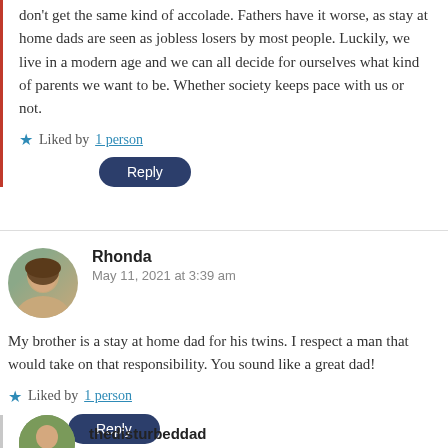don't get the same kind of accolade. Fathers have it worse, as stay at home dads are seen as jobless losers by most people. Luckily, we live in a modern age and we can all decide for ourselves what kind of parents we want to be. Whether society keeps pace with us or not.
★ Liked by 1 person
Reply
Rhonda
May 11, 2021 at 3:39 am
My brother is a stay at home dad for his twins. I respect a man that would take on that responsibility. You sound like a great dad!
★ Liked by 1 person
Reply
thedisturbeddad